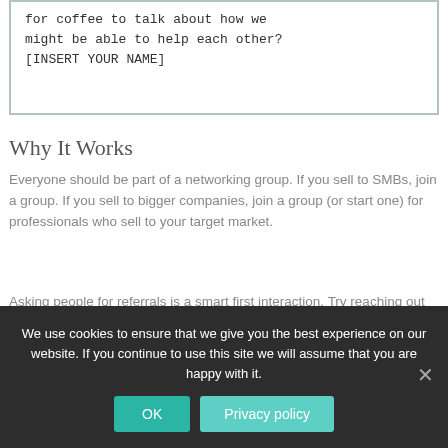for coffee to talk about how we might be able to help each other? [INSERT YOUR NAME]
Why It Works
Everyone should be part of a networking group. If you sell to SMBs, join a group. If you sell to bigger companies, join a group (or start one) for professionals who sell to your target market.
Asking people for referrals is a smart first interaction. Try reaching out to other sales professionals like this.
We use cookies to ensure that we give you the best experience on our website. If you continue to use this site we will assume that you are happy with it.